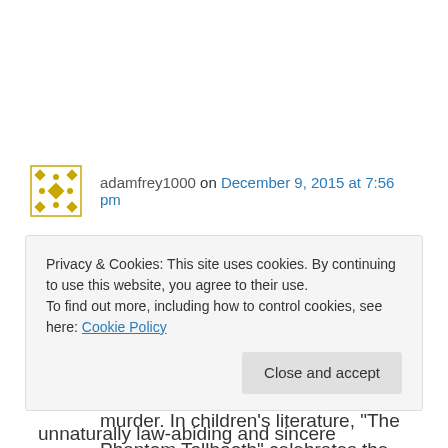adamfrey1000 on December 9, 2015 at 7:56 pm
My favorite trickster in film may be Mrs. Townsend (Josephine Hutchinson) in Hitchcock's “North By Northwest.” Her warm, genuine, caring persona is quite at odds with her participation in an attempted murder. In children’s literature, “The Phantom Tollbooth” celebrates the trickster
Privacy & Cookies: This site uses cookies. By continuing to use this website, you agree to their use.
To find out more, including how to control cookies, see here: Cookie Policy
Close and accept
unnaturally law-abiding and sincere